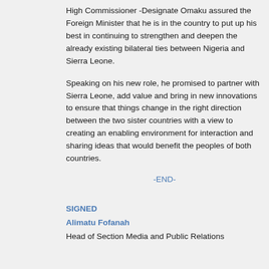High Commissioner -Designate Omaku assured the Foreign Minister that he is in the country to put up his best in continuing to strengthen and deepen the already existing bilateral ties between Nigeria and Sierra Leone.
Speaking on his new role, he promised to partner with Sierra Leone, add value and bring in new innovations to ensure that things change in the right direction between the two sister countries with a view to creating an enabling environment for interaction and sharing ideas that would benefit the peoples of both countries.
-END-
SIGNED
Alimatu Fofanah
Head of Section Media and Public Relations